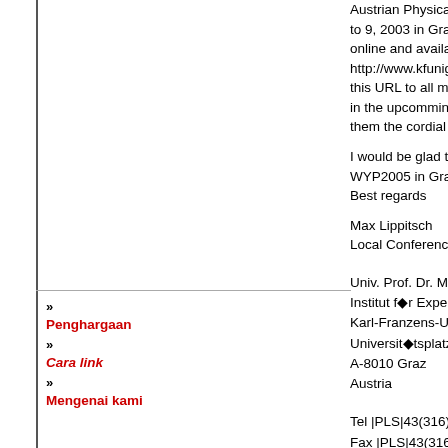Austrian Physical Society will hold an international conference to 9, 2003 in Graz, Austria. The website devoted to online and available at http://www.kfunigraz.ac.at/exp8www/wyp2005/main this URL to all members of your scientific society who in the upcomming events for the World Year of Phys them the cordial invitation to take part in this conference.
I would be glad to welcome you all at the 1st Preparation WYP2005 in Graz in July.
Best regards
Max Lippitsch
Local Conference Chairman
Penghargaan
Cara link
Mengenai kami
Univ. Prof. Dr. Max E. Lippitsch
Institut f◆r Experimentalphysik
Karl-Franzens-Universit◆t
Universit◆tsplatz 5
A-8010 Graz
Austria
Tel |PLS|43(316)380 5192
Fax |PLS|43(316)380 9816
Univ. Prof. Dr. Max E. Lippitsch
Institut f◆r Experimentalphysik
Karl-Franzens-Universit◆t
Universit◆tsplatz 5
A-8010 Graz
Austria